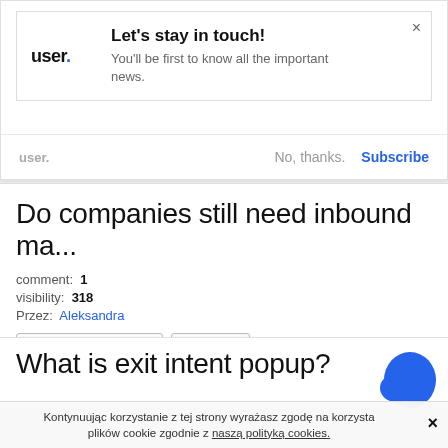[Figure (screenshot): Popup modal with 'user.' logo, heading 'Let's stay in touch!', body text, No thanks and Subscribe buttons]
Do companies still need inbound ma...
comment: 1
visibility: 318
Przez: Aleksandra
Marketing automation
Marketing
7 stycznia 2019 15:14
What is exit intent popup?
Kontynuując korzystanie z tej strony wyrażasz zgodę na korzystanie plików cookie zgodnie z naszą polityką cookies.